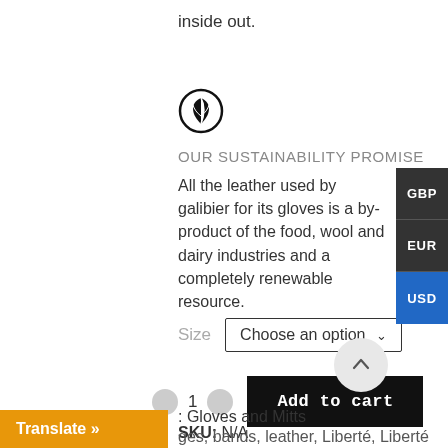inside out.
[Figure (illustration): Circular black and white icon with a leaf/plant inside, representing sustainability.]
OUR SUSTAINABILITY PROMISE
All the leather used by galibier for its gloves is a by-product of the food, wool and dairy industries and a completely renewable resource.
Size   Choose an option
1   Add to cart
SKU: N/A
Gloves and Mitts
ges, bands, leather, Liberté, Liberté